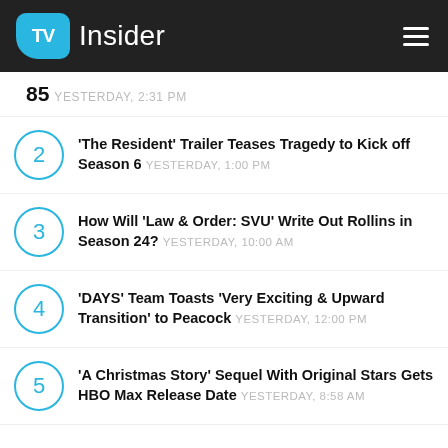TV Insider
85 YESTERDAY, 2:31 PM
'The Resident' Trailer Teases Tragedy to Kick off Season 6 YESTERDAY, 1:00 PM
How Will 'Law & Order: SVU' Write Out Rollins in Season 24? YESTERDAY, 10:00 AM
'DAYS' Team Toasts 'Very Exciting & Upward Transition' to Peacock YESTERDAY, 12:00 PM
'A Christmas Story' Sequel With Original Stars Gets HBO Max Release Date YESTERDAY, 8:58 AM